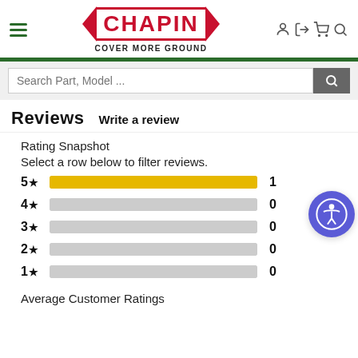[Figure (logo): Chapin logo with red border arrows, Cover More Ground tagline, navigation icons]
[Figure (screenshot): Search bar with 'Search Part, Model ...' placeholder and gray search button]
Reviews   Write a review
Rating Snapshot
Select a row below to filter reviews.
[Figure (bar-chart): Rating Snapshot]
Average Customer Ratings